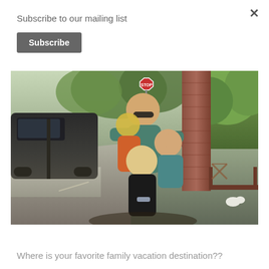Subscribe to our mailing list
Subscribe
[Figure (photo): Family photo outdoors — adult man with sunglasses and three young children laughing and playing near a brick column, with parked SUV and street visible on the left, green trees in the background, stop sign visible in upper center.]
Where is your favorite family vacation destination??